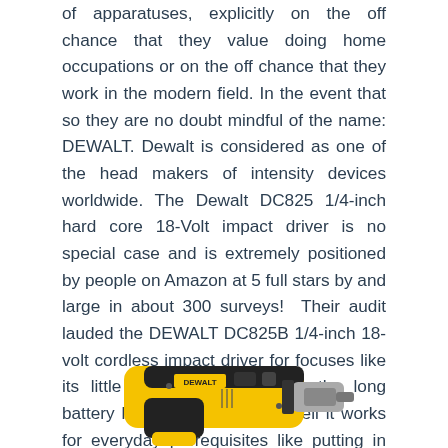of apparatuses, explicitly on the off chance that they value doing home occupations or on the off chance that they work in the modern field. In the event that so they are no doubt mindful of the name: DEWALT. Dewalt is considered as one of the head makers of intensity devices worldwide. The Dewalt DC825 1/4-inch hard core 18-Volt impact driver is no special case and is extremely positioned by people on Amazon at 5 full stars by and large in about 300 surveys!  Their audit lauded the DEWALT DC825B 1/4-inch 18-volt cordless impact driver for focuses like its little and lightweight body, the long battery life, and exactly how well it works for everyday prerequisites like putting in screws. Directly here is a few subtleties data on a few of the focal points and drawbacks about the DEWALT DC825B 1/4-inch 18-volt cordless impact driver:
[Figure (photo): Photo of a DEWALT DC825B impact driver, yellow and black color, shown from the side/front angle with the chuck visible.]